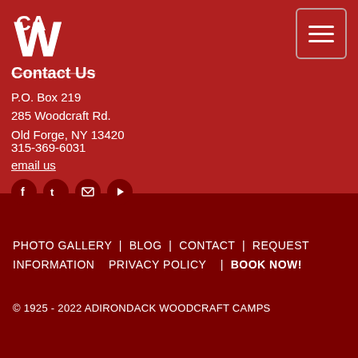[Figure (logo): Adirondack Woodcraft Camps logo — stylized 'CA' or 'W' lettermark in white on dark red background]
Contact Us
P.O. Box 219
285 Woodcraft Rd.
Old Forge, NY 13420
315-369-6031
email us
[Figure (infographic): Four social media icons: Facebook, Twitter, Email, YouTube — white icons in dark red circles]
PHOTO GALLERY | BLOG | CONTACT | REQUEST INFORMATION | PRIVACY POLICY | BOOK NOW!
© 1925 - 2022 ADIRONDACK WOODCRAFT CAMPS